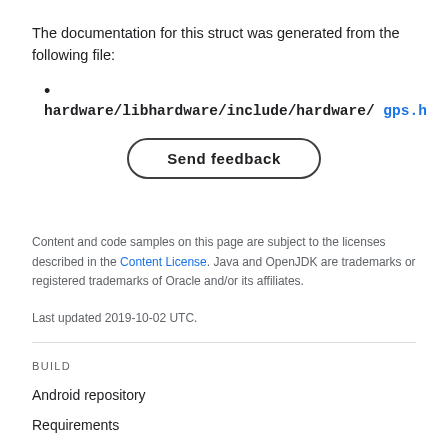The documentation for this struct was generated from the following file:
hardware/libhardware/include/hardware/ gps.h
[Figure (other): Send feedback button — rounded rectangle button with border]
Content and code samples on this page are subject to the licenses described in the Content License. Java and OpenJDK are trademarks or registered trademarks of Oracle and/or its affiliates.
Last updated 2019-10-02 UTC.
BUILD
Android repository
Requirements